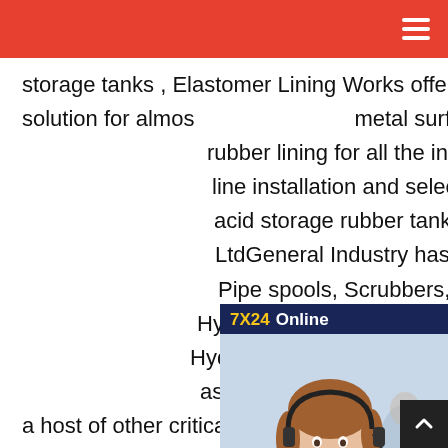Navigation bar with hamburger menu
storage tanks , Elastomer Lining Works offers a comprehensive lining solution for almost any metal surface. Our technical support excels at rubber lining for all the industry needs. The line installation and selection procedures for acid storage rubber tank linings General Industry LtdGeneral Industry has pioneered the use of Pipe spools, Scrubbers, Storage Tanks , Hydrochloric acid , Sodium Hypochlorite, Hydroxide Road Tankers, Demineralization as Anion, Cat-ion, mixed bed regeneration vessels, and a host of other critical process equipment which requires protection against corrosion and erosion with under Vacuum
[Figure (other): 7X24 Online chat widget with a customer support representative photo, 'Hello, may I help you?' text, and 'Get Latest Price' button]
[Figure (other): Back to top button with upward chevron arrow]